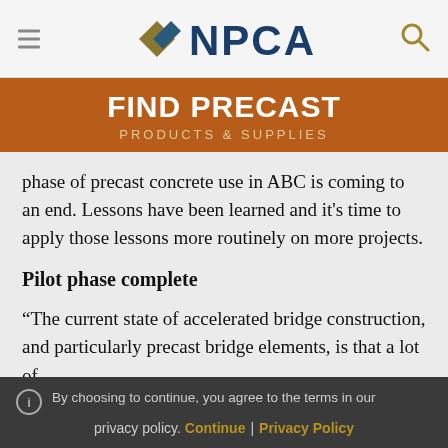NPCA navigation header with hamburger menu and search icon
[Figure (logo): NPCA logo with diamond shapes and blue bold text]
FIND PRECAST
PRODUCTS & SUPPLIES
phase of precast concrete use in ABC is coming to an end. Lessons have been learned and it's time to apply those lessons more routinely on more projects.
Pilot phase complete
“The current state of accelerated bridge construction, and particularly precast bridge elements, is that a lot of
By choosing to continue, you agree to the terms in our privacy policy. Continue | Privacy Policy